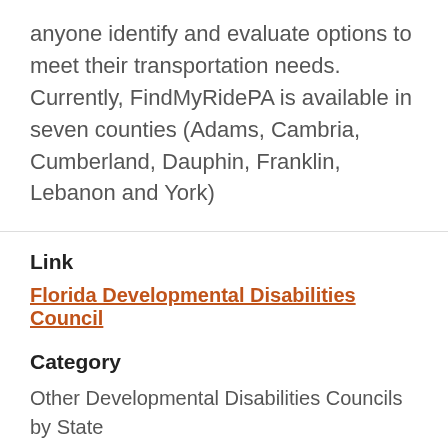anyone identify and evaluate options to meet their transportation needs. Currently, FindMyRidePA is available in seven counties (Adams, Cambria, Cumberland, Dauphin, Franklin, Lebanon and York)
Link
Florida Developmental Disabilities Council
Category
Other Developmental Disabilities Councils by State
Description